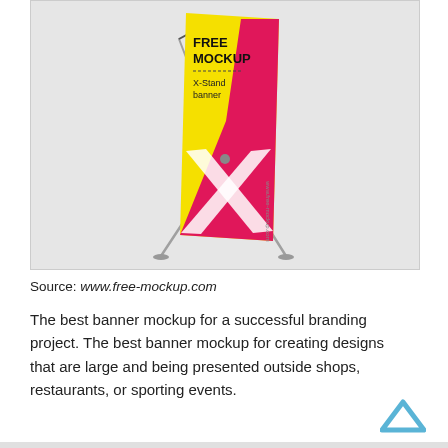[Figure (photo): X-Stand banner mockup on a metal X-frame stand. The banner features a yellow and pink/red design with a large white X graphic, text reading FREE MOCKUP X-Stand banner. The stand is photographed on a light grey background.]
Source: www.free-mockup.com
The best banner mockup for a successful branding project. The best banner mockup for creating designs that are large and being presented outside shops, restaurants, or sporting events.